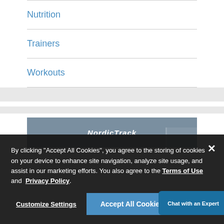Nutrition
Trainers
Workouts
[Figure (screenshot): NordicTrack branded image with partial view of exercise equipment]
By clicking “Accept All Cookies”, you agree to the storing of cookies on your device to enhance site navigation, analyze site usage, and assist in our marketing efforts. You also agree to the Terms of Use and Privacy Policy.
Customize Settings
Accept All Cookies